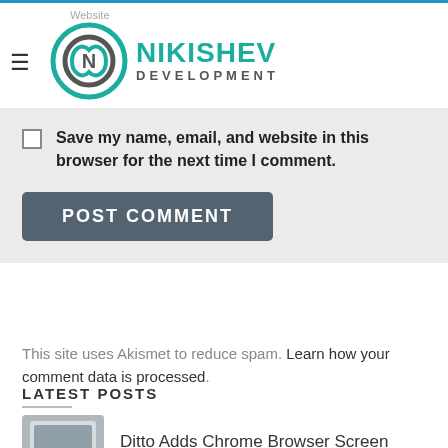NIKISHEV DEVELOPMENT
Save my name, email, and website in this browser for the next time I comment.
POST COMMENT
This site uses Akismet to reduce spam. Learn how your comment data is processed.
LATEST POSTS
Ditto Adds Chrome Browser Screen Mirroring